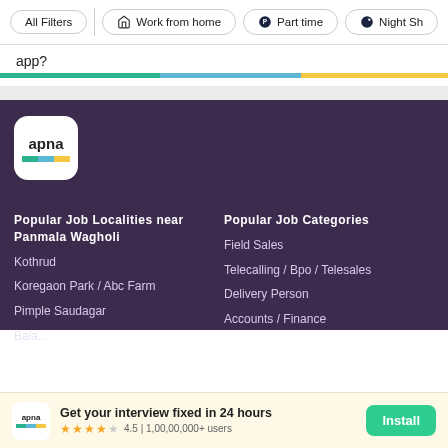All Filters | Work from home | Part time | Night Sh...
app?
[Figure (infographic): Tri-color horizontal progress bar with green, blue, and yellow segments]
[Figure (logo): Apna app logo: white rounded square with 'apna' text and tri-color bar]
Popular Job Localities near Panmala Wagholi
Kothrud
Koregaon Park / Abc Farm
Pimple Saudagar
Popular Job Categories
Field Sales
Telecalling / Bpo / Telesales
Delivery Person
Accounts / Finance
Get your interview fixed in 24 hours. 4.5 | 1,00,00,000+ users. Install